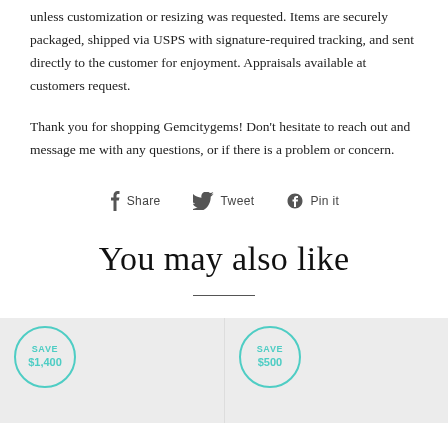unless customization or resizing was requested. Items are securely packaged, shipped via USPS with signature-required tracking, and sent directly to the customer for enjoyment. Appraisals available at customers request.
Thank you for shopping Gemcitygems! Don't hesitate to reach out and message me with any questions, or if there is a problem or concern.
Share  Tweet  Pin it
You may also like
[Figure (other): Two product cards side by side, each with a teal circular badge. Left badge: SAVE $1,400. Right badge: SAVE $500. Cards have light grey background.]